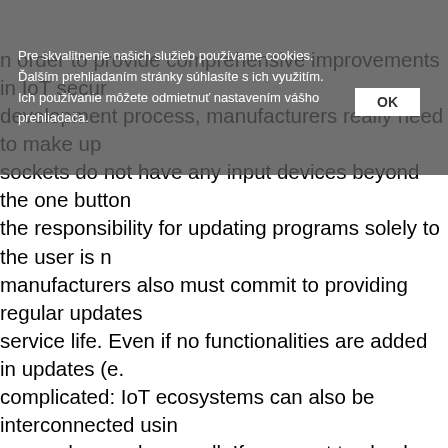n order to provide comprehensive improvements in IoT security development process, manufacturers really need to make up sockets do not have any input devices beyond the one button the responsibility for updating programs solely to the user is manufacturers also must commit to providing regular updates service life. Even if no functionalities are added in updates (e. complicated: IoT ecosystems can also be interconnected usin secured properly as well. If you want to check whether or not based services involved to get this information: you contact th infrastructure of whatever vendor made your lighting controls. might represent a security issue. So there are security consid need a dedicated user account. If you intend to connect a ma It becomes especially interesting when adding smart door loc
There is now some legislation is now underway in the United products. If put into practice as it is proposed, devices would devices which are not compliant with security standards anym vulnerability database) must either be provided with update
Pre skvalitnenie našich služieb používame cookies. Ďalším prehliadaním stránky súhlasíte s ich využitím. Ich používanie môžete odmietnuť nastavením vášho prehliadača.